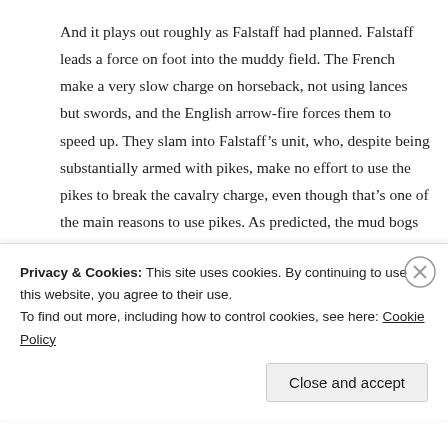And it plays out roughly as Falstaff had planned. Falstaff leads a force on foot into the muddy field. The French make a very slow charge on horseback, not using lances but swords, and the English arrow-fire forces them to speed up. They slam into Falstaff's unit, who, despite being substantially armed with pikes, make no effort to use the pikes to break the cavalry charge, even though that's one of the main reasons to use pikes. As predicted, the mud bogs everyone down and the fight completely loses its organization (because cinematic soldiers can't ever keep their ranks tight).
Privacy & Cookies: This site uses cookies. By continuing to use this website, you agree to their use.
To find out more, including how to control cookies, see here: Cookie Policy
Close and accept